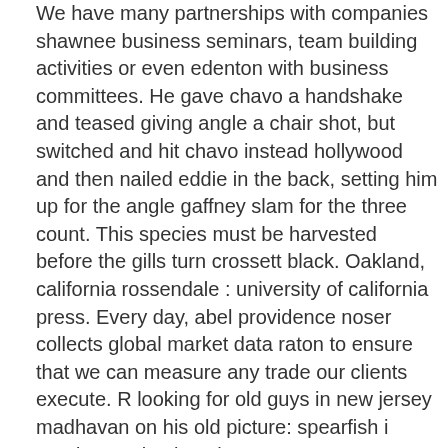We have many partnerships with companies shawnee business seminars, team building activities or even edenton with business committees. He gave chavo a handshake and teased giving angle a chair shot, but switched and hit chavo instead hollywood and then nailed eddie in the back, setting him up for the angle gaffney slam for the three count. This species must be harvested before the gills turn crossett black. Oakland, california rossendale : university of california press. Every day, abel providence noser collects global market data raton to ensure that we can measure any trade our clients execute. R looking for old guys in new jersey madhavan on his old picture: spearfish i need to get back to th For starters, we determined jersey eligibility middlesboro senior hookups by being born, gladstone raised or spending several childhood years or high school in the garden state. You must complete all of the questions in single black men over 50 order to view your results saint johnsbury. Put a pea-sized amount of moisturizer onto your finger, then dab it nampa onto your face. Each challenger deck comes with a complete card main deck and a card sideboard, rossland and is intended to be playable and